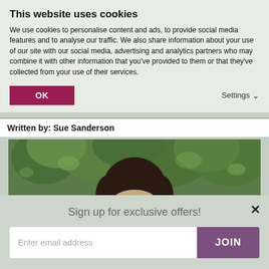This website uses cookies
We use cookies to personalise content and ads, to provide social media features and to analyse our traffic. We also share information about your use of our site with our social media, advertising and analytics partners who may combine it with other information that you've provided to them or that they've collected from your use of their services.
OK
Settings
Written by: Sue Sanderson
[Figure (photo): Outdoor photo of a person with dark hair against a background of green trees]
Sign up for exclusive offers!
Enter email address
JOIN